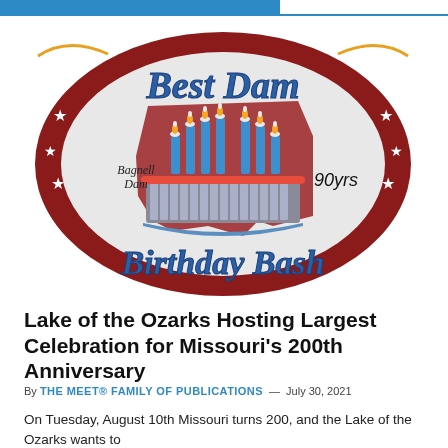[Figure (logo): Best Dam Birthday Bash logo featuring Bagnell Dam illustrated as a birthday cake with blue candles, red Missouri state silhouette, stars, and text reading 'Best Dam Birthday Bash', 'Bagnell Dam', '90yrs']
Lake of the Ozarks Hosting Largest Celebration for Missouri’s 200th Anniversary
By THE MEET® FAMILY OF PUBLICATIONS — July 30, 2021
On Tuesday, August 10th Missouri turns 200, and the Lake of the Ozarks wants to